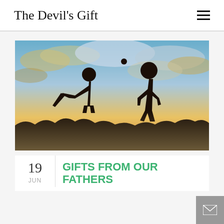The Devil's Gift
[Figure (photo): Silhouette of a child swinging a baseball bat and an adult standing, set against a dramatic sunset sky with golden and blue clouds]
19 JUN
GIFTS FROM OUR FATHERS
27 Comments